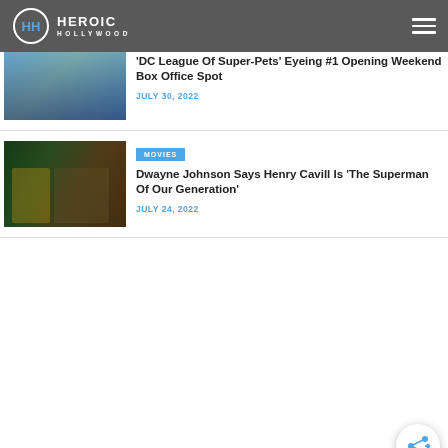Heroic Hollywood
'DC League Of Super-Pets' Eyeing #1 Opening Weekend Box Office Spot
JULY 30, 2022
Dwayne Johnson Says Henry Cavill Is 'The Superman Of Our Generation'
JULY 24, 2022